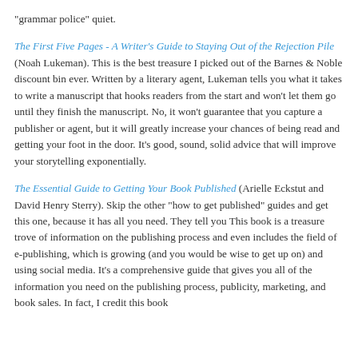"grammar police" quiet.
The First Five Pages - A Writer's Guide to Staying Out of the Rejection Pile (Noah Lukeman). This is the best treasure I picked out of the Barnes & Noble discount bin ever. Written by a literary agent, Lukeman tells you what it takes to write a manuscript that hooks readers from the start and won't let them go until they finish the manuscript. No, it won't guarantee that you capture a publisher or agent, but it will greatly increase your chances of being read and getting your foot in the door. It's good, sound, solid advice that will improve your storytelling exponentially.
The Essential Guide to Getting Your Book Published (Arielle Eckstut and David Henry Sterry). Skip the other "how to get published" guides and get this one, because it has all you need. They tell you This book is a treasure trove of information on the publishing process and even includes the field of e-publishing, which is growing (and you would be wise to get up on) and using social media. It's a comprehensive guide that gives you all of the information you need on the publishing process, publicity, marketing, and book sales. In fact, I credit this book